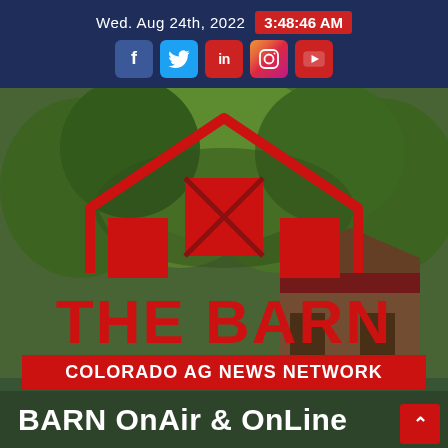Wed. Aug 24th, 2022  3:48:46 AM
[Figure (logo): The Barn Colorado AG News Network logo — red barn outline with X-cross window and 'THE BARN' text in red, overlaid on a background photo of a real wooden barn surrounded by green trees. Below the logo: 'COLORADO AG NEWS NETWORK' in a red bar, and 'BARN OnAir & OnLine' in white bold text at the bottom.]
BARN OnAir & OnLine